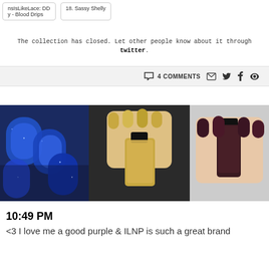nsIsLikeLace: DD
y - Blood Drips
18. Sassy Shelly
The collection has closed. Let other people know about it through twitter.
4 COMMENTS
[Figure (photo): Three nail polish photos side by side: blue glitter nails, gold holographic polish bottle with gold nails, dark purple/maroon glitter nails with polish bottle]
10:49 PM
<3 I love me a good purple & ILNP is such a great brand